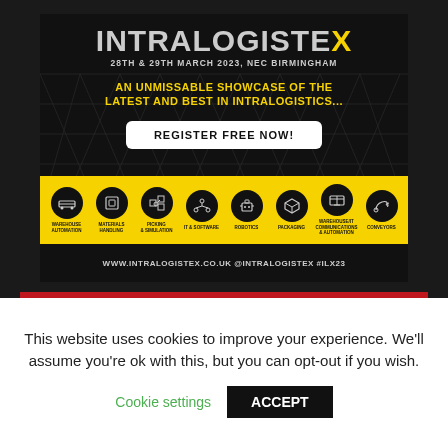[Figure (infographic): IntraLogisteX advertisement banner. Dark background with grid lines. Logo reads 'INTRALOGISTEX' with X in yellow. Date: 28TH & 29TH MARCH 2023, NEC BIRMINGHAM. Tagline: AN UNMISSABLE SHOWCASE OF THE LATEST AND BEST IN INTRALOGISTICS... White rounded button: REGISTER FREE NOW! Yellow icons bar with 8 circular icons for: WAREHOUSE AUTOMATION, MATERIALS HANDLING, PICKING & SIMULATION, IT & SOFTWARE, ROBOTICS, PACKAGING, WAREHOUSE/IT COMMUNICATIONS & AUTOMATION, CONVEYORS. URL bar: WWW.INTRALOGISTEX.CO.UK @INTRALOGISTEX #ILX23]
MOST POPULAR STORIES
This website uses cookies to improve your experience. We'll assume you're ok with this, but you can opt-out if you wish.
Cookie settings  ACCEPT